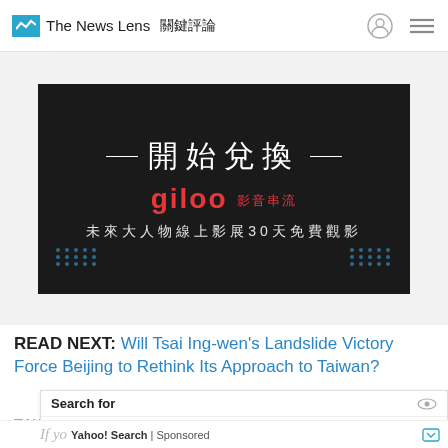The News Lens 關鍵評論
[Figure (illustration): Advertisement banner with dark/black background showing Chinese text: 開始兌換, giloo (in red), 未來大人物線上影展30天免費觀影]
READ NEXT: Will Tsai Ing-wen's Landslide Victory Force Beijing to Rethink Its Approach to Taiwan?
Search for
01. Affordable Womens Fall Dress Deals
02. Affordable Trendy Women's Tops
Yahoo! Search | Sponsored